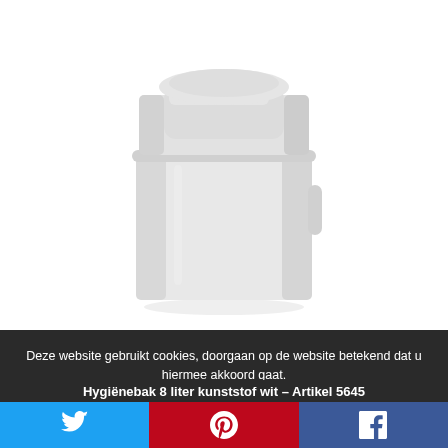[Figure (photo): White plastic hygiene bin with swing lid, approximately 8 liters, shown on white background]
Deze website gebruikt cookies, doorgaan op de website betekend dat u hiermee akkoord gaat.
Hygiënebak 8 liter kunststof wit – Artikel 5645